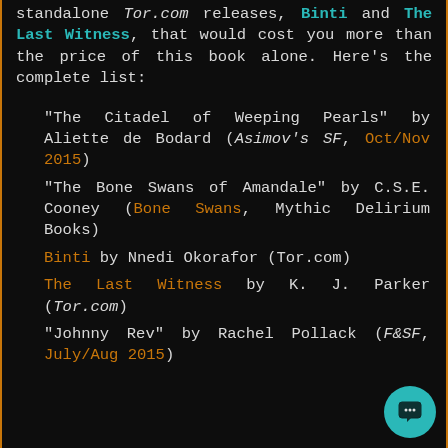standalone Tor.com releases, Binti and The Last Witness, that would cost you more than the price of this book alone. Here's the complete list:
"The Citadel of Weeping Pearls" by Aliette de Bodard (Asimov's SF, Oct/Nov 2015)
"The Bone Swans of Amandale" by C.S.E. Cooney (Bone Swans, Mythic Delirium Books)
Binti by Nnedi Okorafor (Tor.com)
The Last Witness by K. J. Parker (Tor.com)
"Johnny Rev" by Rachel Pollack (F&SF, July/Aug 2015)